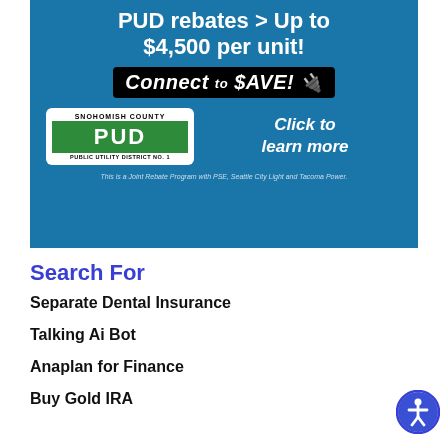[Figure (infographic): Snohomish County PUD advertisement banner with blue background. Text reads 'PUD rebates > Up to $4,500 per unit!' and 'Connect to $AVE!' logo. Features Snohomish County PUD Public Utility District No. 1 logo and text 'Click to learn more'. Footer text reads 'This is a Joint Rebate Program with PSE, Seattle City Light and Tacoma Power.']
Search For
Separate Dental Insurance
Talking Ai Bot
Anaplan for Finance
Buy Gold IRA